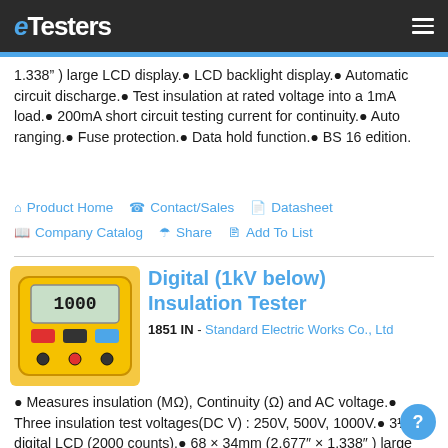eTesters
1.338") large LCD display.● LCD backlight display.● Automatic circuit discharge.● Test insulation at rated voltage into a 1mA load.● 200mA short circuit testing current for continuity.● Auto ranging.● Fuse protection.● Data hold function.● BS 16 edition.
Product Home
Contact/Sales
Datasheet
Company Catalog
Share
Add To List
[Figure (photo): Yellow Digital Insulation Tester device with LCD display and test leads]
Digital (1kV below) Insulation Tester
1851 IN - Standard Electric Works Co., Ltd
● Measures insulation (MΩ), Continuity (Ω) and AC voltage.● Three insulation test voltages(DC V) : 250V, 500V, 1000V.● 3½ digital LCD (2000 counts).● 68 × 34mm (2.677" × 1.338" ) large LCD display.● Automatic circuit discharge.● Test insulation at rated voltage into a 1mA load.● 210mA short circuit testing current for continuity.● External voltage warning indication.● Fuse protection.● BS 16 edition